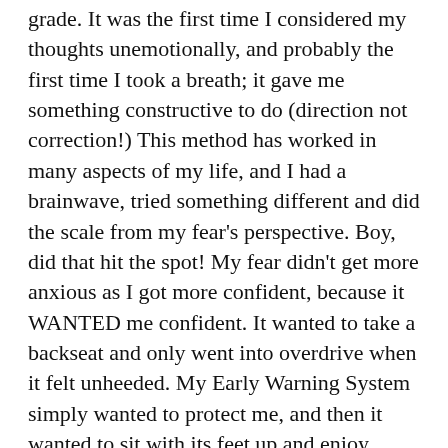grade. It was the first time I considered my thoughts unemotionally, and probably the first time I took a breath; it gave me something constructive to do (direction not correction!) This method has worked in many aspects of my life, and I had a brainwave, tried something different and did the scale from my fear's perspective. Boy, did that hit the spot! My fear didn't get more anxious as I got more confident, because it WANTED me confident. It wanted to take a backseat and only went into overdrive when it felt unheeded. My Early Warning System simply wanted to protect me, and then it wanted to sit with its feet up and enjoy doing nothing.
As all good horses are wont to do, Bruce led me towards different teaching methods and better insight. How horses do this is one of the great...